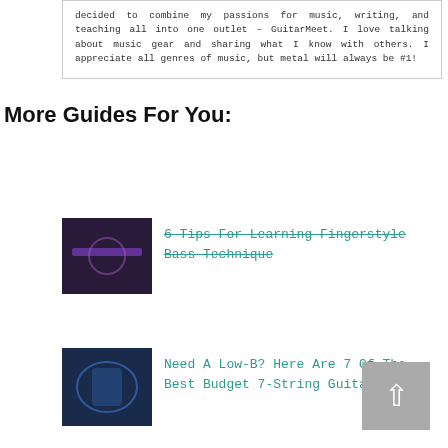decided to combine my passions for music, writing, and teaching all into one outlet – GuitarMeet. I love talking about music gear and sharing what I know with others. I appreciate all genres of music, but metal will always be #1!
More Guides For You:
6 Tips For Learning Fingerstyle Bass Technique
Need A Low-B? Here Are 7 Of The Best Budget 7-String Guitars
How To Clean An Acoustic Guitar Safely
5 Key Reasons Why You Should Own More Than One Guitar
Buying A Guitar? Know The 3 Main Types of Fretboard Woods